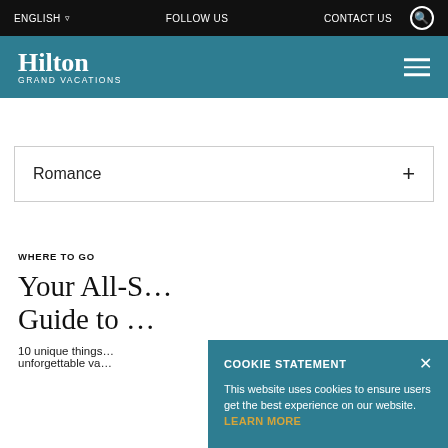ENGLISH  FOLLOW US  CONTACT US
[Figure (logo): Hilton Grand Vacations logo on teal background with hamburger menu icon]
Romance  +
WHERE TO GO
Your All-S… Guide to …
10 unique things … unforgettable va…
COOKIE STATEMENT
This website uses cookies to ensure users get the best experience on our website. LEARN MORE